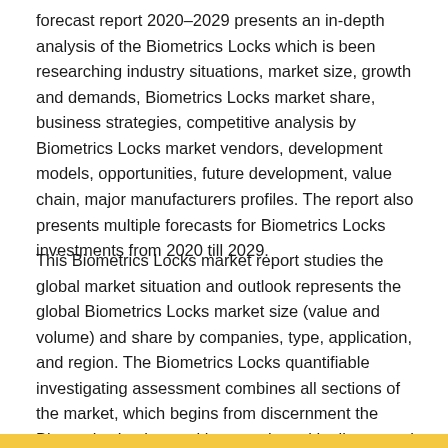forecast report 2020–2029 presents an in-depth analysis of the Biometrics Locks which is been researching industry situations, market size, growth and demands, Biometrics Locks market share, business strategies, competitive analysis by Biometrics Locks market vendors, development models, opportunities, future development, value chain, major manufacturers profiles. The report also presents multiple forecasts for Biometrics Locks investments from 2020 till 2029.
This Biometrics Locks market report studies the global market situation and outlook represents the global Biometrics Locks market size (value and volume) and share by companies, type, application, and region. The Biometrics Locks quantifiable investigating assessment combines all sections of the market, which begins from discernment the Biometrics Locks, working together with clients, and evaluating the information Biometrics Locks Market.